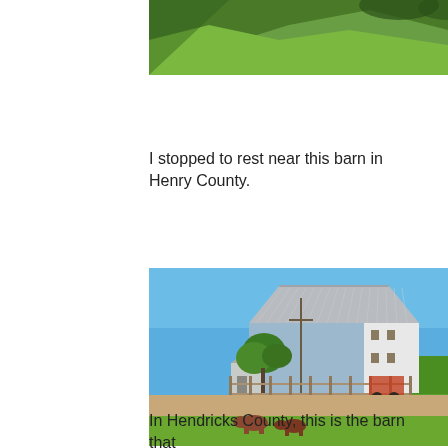[Figure (photo): Partial view of a grassy green hillside with trees at the top edge, cropped from a larger photo above]
I stopped to rest near this barn in Henry County.
[Figure (photo): A large white barn with a metal roof under a clear blue sky, surrounded by farm fencing, farm equipment, cattle grazing in the foreground on green grass, with crops visible in the background]
In Hendricks County, this is the barn that